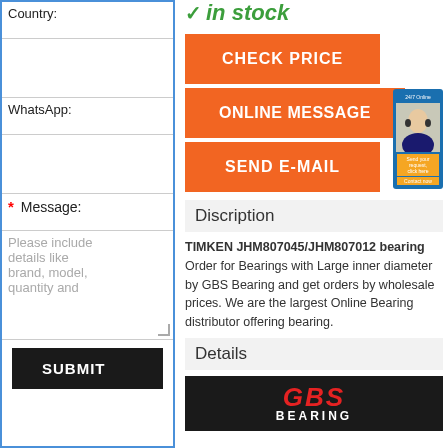Country:
WhatsApp:
* Message:
Please include details like brand, model, quantity and
SUBMIT
✓ in stock
CHECK PRICE
ONLINE MESSAGE
SEND E-MAIL
Discription
TIMKEN JHM807045/JHM807012 bearing Order for Bearings with Large inner diameter by GBS Bearing and get orders by wholesale prices. We are the largest Online Bearing distributor offering bearing.
Details
[Figure (logo): GBS Bearing logo — red italic GBS text above white BEARING text on black background]